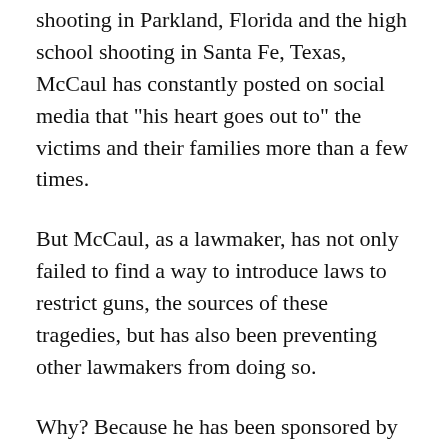shooting in Parkland, Florida and the high school shooting in Santa Fe, Texas, McCaul has constantly posted on social media that "his heart goes out to" the victims and their families more than a few times.
But McCaul, as a lawmaker, has not only failed to find a way to introduce laws to restrict guns, the sources of these tragedies, but has also been preventing other lawmakers from doing so.
Why? Because he has been sponsored by the National Rifle Association's Political Victory Fund (NRA-PVF) for the past 10 years or so. Most recently, in 2020, the NRA-PVF publicly called on its supporters to vote for McCaul in an open letter because he is a "staunch defender" of unlimited gun rights, and he opposes